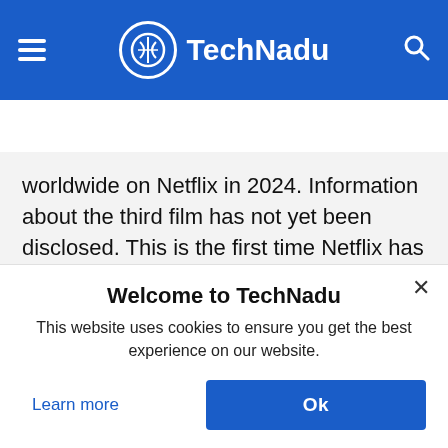TechNadu
NEWS  TV SHOWS  SPORTS  BEST VPN  VPN
worldwide on Netflix in 2024. Information about the third film has not yet been disclosed. This is the first time Netflix has worked with a Japanese domestic animation studio on a feature-length animation project over a multi-year period.
Welcome to TechNadu
This website uses cookies to ensure you get the best experience on our website.
Learn more
Ok